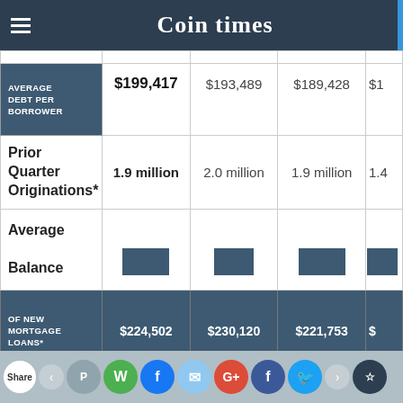Coin times
|  | Col1 | Col2 | Col3 | Col4 |
| --- | --- | --- | --- | --- |
| AVERAGE DEBT PER BORROWER | $199,417 | $193,489 | $189,428 | $1… |
| Prior Quarter Originations* | 1.9 million | 2.0 million | 1.9 million | 1.4… |
| Average Balance | [bar] | [bar] | [bar] | [bar] |
| OF NEW MORTGAGE LOANS* | $224,502 | $230,120 | $221,753 | $… |
*NOTE: ORIGINATIONS ARE VIEWED ONE QUARTER IN…